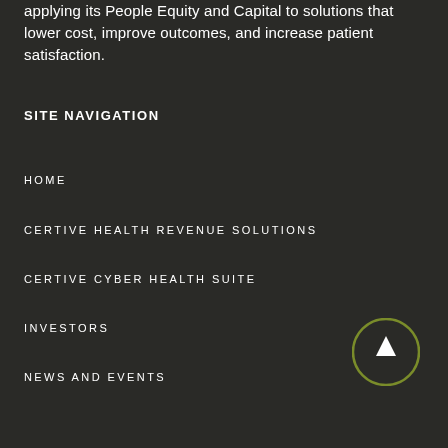applying its People Equity and Capital to solutions that lower cost, improve outcomes, and increase patient satisfaction.
SITE NAVIGATION
HOME
CERTIVE HEALTH REVENUE SOLUTIONS
CERTIVE CYBER HEALTH SUITE
INVESTORS
NEWS AND EVENTS